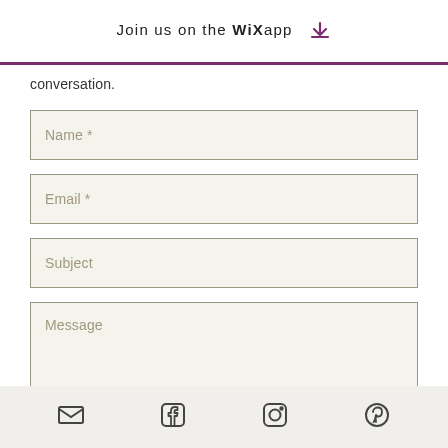Join us on the WiX app ↓
conversation.
Name *
Email *
Subject
Message
Social media icons: email, facebook, instagram, pinterest